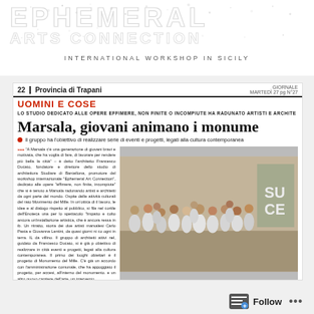[Figure (logo): Ephemeral Arts Connection logo with decorative bubble/dot letterforms in light grey, subtitle INTERNATIONAL WORKSHOP IN SICILY]
[Figure (photo): Newspaper clipping from Provincia di Trapani showing article 'Marsala, giovani animano i monume...' with UOMINI E COSE section header in red, article text and group photo of young people in white clothing]
Follow ...